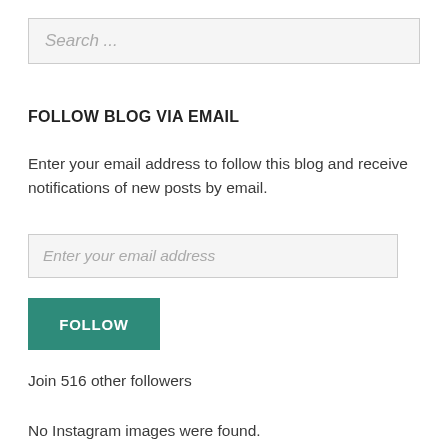Search ...
FOLLOW BLOG VIA EMAIL
Enter your email address to follow this blog and receive notifications of new posts by email.
Enter your email address
FOLLOW
Join 516 other followers
No Instagram images were found.